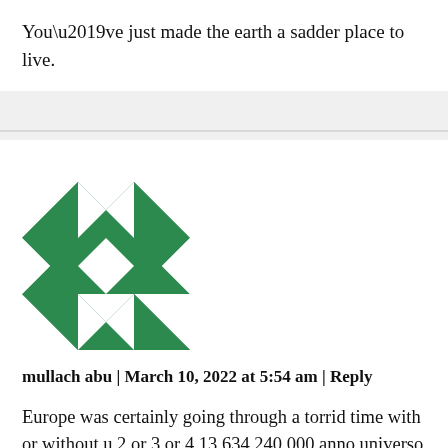You’ve just made the earth a sadder place to live.
mullach abu | March 10, 2022 at 5:54 am | Reply
Europe was certainly going through a torrid time with or without u 2 or 3 or 4 13,634,240,000 anno universo = 65,760,000 after 180,000,000 million years of prosperity its just another day